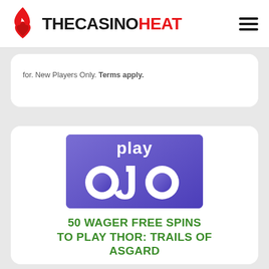THECASINOHEAT
for. New Players Only. Terms apply.
[Figure (logo): PlayOJO casino logo — white 'play ojo' lettering on a purple/blue gradient background]
50 WAGER FREE SPINS TO PLAY THOR: TRAILS OF ASGARD